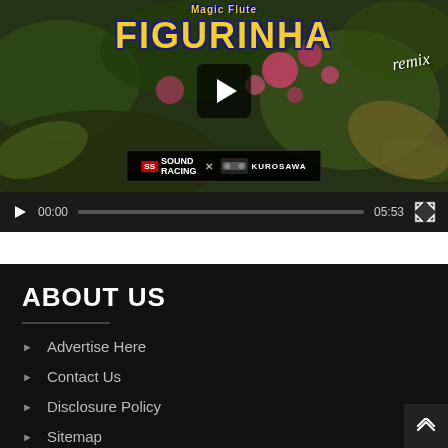[Figure (screenshot): Video player showing 'Figurinha remix' music video thumbnail with floral background, Sound Racing x Kurosawa logos, play button overlay, and video controls showing time 00:00 / 05:53]
ABOUT US
Advertise Here
Contact Us
Disclosure Policy
Sitemap